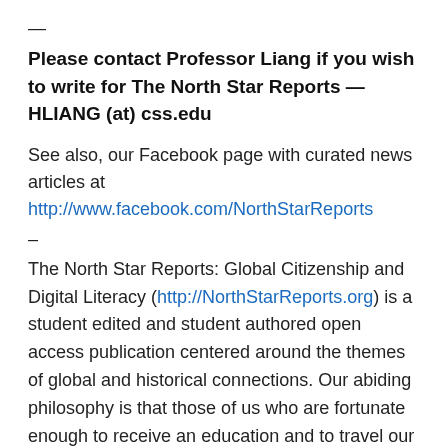—
Please contact Professor Liang if you wish to write for The North Star Reports — HLIANG (at) css.edu
See also, our Facebook page with curated news articles at http://www.facebook.com/NorthStarReports
–
The North Star Reports: Global Citizenship and Digital Literacy (http://NorthStarReports.org) is a student edited and student authored open access publication centered around the themes of global and historical connections. Our abiding philosophy is that those of us who are fortunate enough to receive an education and to travel our planet are ethically bound to share our knowledge with those who cannot afford to do so. Therefore, creating virtual and actual communities of learning between college and K-12 classes are integral to our mission. In three